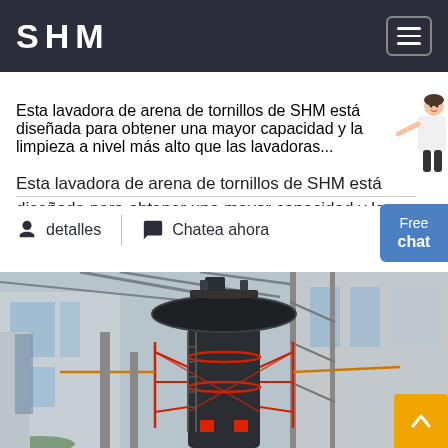SHM
Esta lavadora de arena de tornillos de SHM está diseñada para obtener una mayor capacidad y la limpieza a nivel más alto que las lavadoras...
detalles   Chatea ahora
[Figure (photo): Industrial machinery — a large black vertical cylindrical machine with a disc-shaped top, red framework structure surrounding it, inside a large industrial warehouse with metal roof trusses and natural light from windows]
Free chat